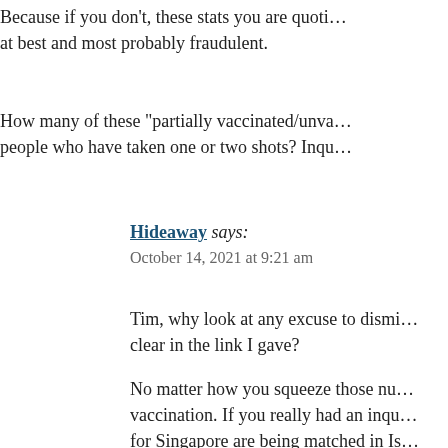Because if you don't, these stats you are quoting are misleading at best and most probably fraudulent.
How many of these "partially vaccinated/unva..." people who have taken one or two shots? Inqu...
Hideaway says: October 14, 2021 at 9:21 am
Tim, why look at any excuse to dismi... clear in the link I gave?
No matter how you squeeze those nu... vaccination. If you really had an inqu... for Singapore are being matched in Is... miss-quotes numbers from.
Every country takes their stats a sligh...